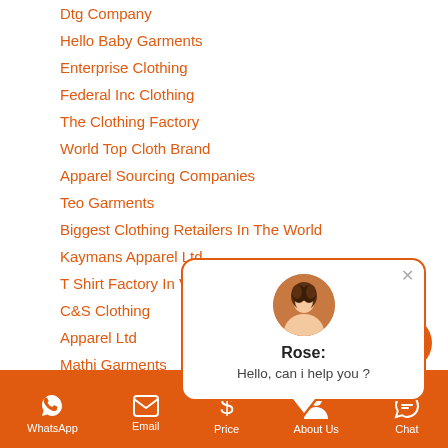Dtg Company
Hello Baby Garments
Enterprise Clothing
Federal Inc Clothing
The Clothing Factory
World Top Cloth Brand
Apparel Sourcing Companies
Teo Garments
Biggest Clothing Retailers In The World
Kaymans Apparel Ltd
T Shirt Factory In Vietnam T-shirt Supplier Manufa
C&S Clothing
Apparel Ltd
Mathi Garments
Cotone Garment Fa...
Kwality Garments
Action Apparel Sdn Bhd
Trz Garments Industry Ltd
Daegyoung Apparel Inc
Rajesh Garments
[Figure (screenshot): Chat popup with avatar of Rose, message: Hello, can i help you?]
WhatsApp  Email  Price  About Us  Chat